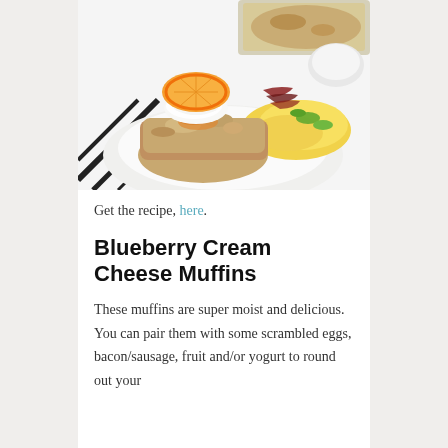[Figure (photo): A breakfast plate with a savory muffin or casserole square topped with cream and an orange slice, alongside scrambled eggs with green peppers and bacon, on a white plate with a black-and-white patterned tablecloth. A baking dish with casserole is visible in the background.]
Get the recipe, here.
Blueberry Cream Cheese Muffins
These muffins are super moist and delicious. You can pair them with some scrambled eggs, bacon/sausage, fruit and/or yogurt to round out your